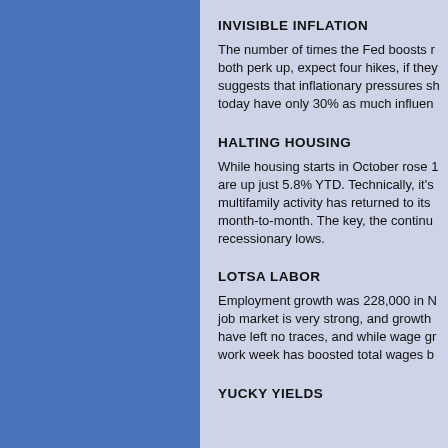INVISIBLE INFLATION
The number of times the Fed boosts r both perk up, expect four hikes, if they suggests that inflationary pressures sh today have only 30% as much influen
HALTING HOUSING
While housing starts in October rose 1 are up just 5.8% YTD. Technically, it's multifamily activity has returned to its month-to-month. The key, the continu recessionary lows.
LOTSA LABOR
Employment growth was 228,000 in N job market is very strong, and growth have left no traces, and while wage gr work week has boosted total wages b
YUCKY YIELDS